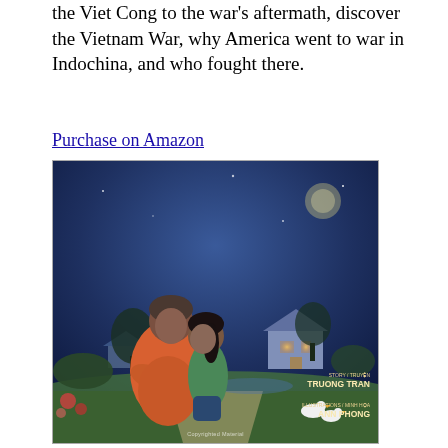the Viet Cong to the war's aftermath, discover the Vietnam War, why America went to war in Indochina, and who fought there.
Purchase on Amazon
[Figure (photo): Book cover of 'Going Home, Coming Home / Về Nhà, Thăm Quê Hương' by Truong Tran, illustrated by Ann Phong. The cover shows an elderly Vietnamese woman embracing a young girl against a dark blue night sky background with a village scene. The title appears in yellow/gold stylized lettering in both English and Vietnamese.]